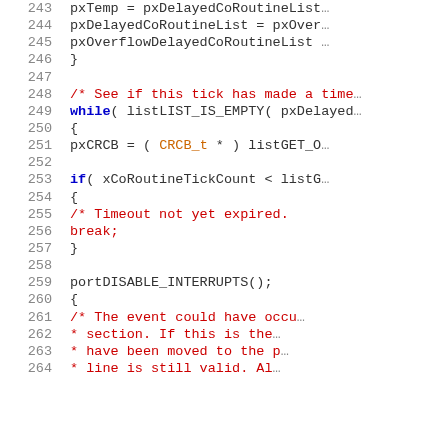[Figure (screenshot): Source code listing lines 243-264 of a C coroutine scheduler, showing delayed coroutine list swapping, tick checking, and interrupt disable logic. Lines use syntax highlighting: line numbers in gray, keywords in blue, comments in red, types in orange, and default code in dark gray/black.]